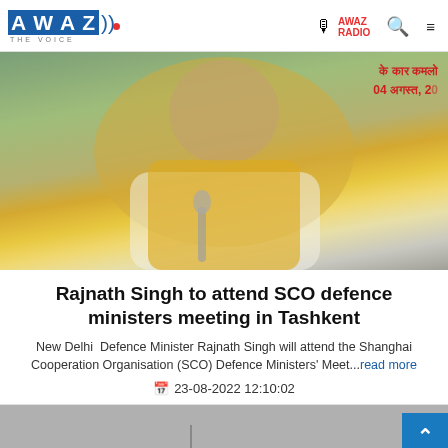AWAZ THE VOICE — AWAZ RADIO
[Figure (photo): Photo of an elderly Indian official in a yellow Nehru vest seated at a meeting, with Hindi text visible in the background reading 'ke kar kamlo' and '04 August 2...']
Rajnath Singh to attend SCO defence ministers meeting in Tashkent
New Delhi  Defence Minister Rajnath Singh will attend the Shanghai Cooperation Organisation (SCO) Defence Ministers' Meet...read more
23-08-2022 12:10:02
[Figure (photo): Partial view of another article's photo, gray/dark background, partially visible]